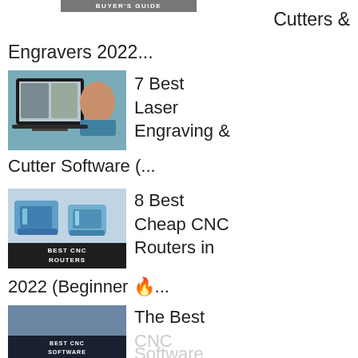[Figure (screenshot): Buyer's Guide button/badge at top]
Cutters & Engravers 2022...
[Figure (photo): Person using laptop with wolf image for laser engraving software]
7 Best Laser Engraving & Cutter Software (...
[Figure (photo): Best CNC Routers product image with blue machines and badge]
8 Best Cheap CNC Routers in 2022 (Beginner 🔥...
[Figure (photo): Best CNC Software image with badge]
The Best CNC Software